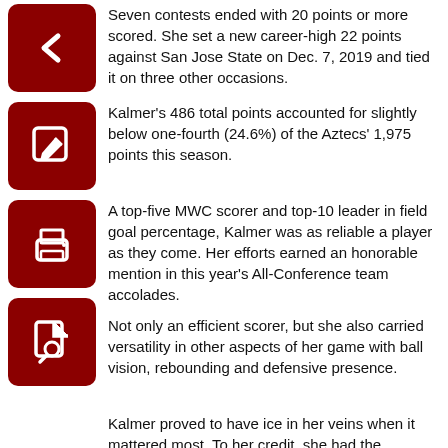Seven contests ended with 20 points or more scored. She set a new career-high 22 points against San Jose State on Dec. 7, 2019 and tied it on three other occasions.
Kalmer's 486 total points accounted for slightly below one-fourth (24.6%) of the Aztecs' 1,975 points this season.
A top-five MWC scorer and top-10 leader in field goal percentage, Kalmer was as reliable a player as they come. Her efforts earned an honorable mention in this year's All-Conference team accolades.
Not only an efficient scorer, but she also carried versatility in other aspects of her game with ball vision, rebounding and defensive presence.
Kalmer proved to have ice in her veins when it mattered most. To her credit, she had the second-most game-tying threes in the final minute across collegiate women's basketball.
One signature moment came on Jan. 8 against the Wyoming Cowgirls.
In a down-to-the-wire matchup of the Wild West, the Aztecs found themselves down by three with a few seconds left to spare in regulation. The play drawn up coming out of the huddle was